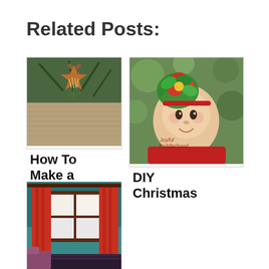Related Posts:
[Figure (photo): Photo of a nativity star ornament made of sticks/wood with pine branches on burlap background]
How To Make a
[Figure (photo): Photo of a baby/toddler with a colorful Christmas flower headband, green trees in background]
DIY Christmas
[Figure (photo): Photo of a room with red/orange custom curtains on a window with teal walls]
DIY Custom Curtains